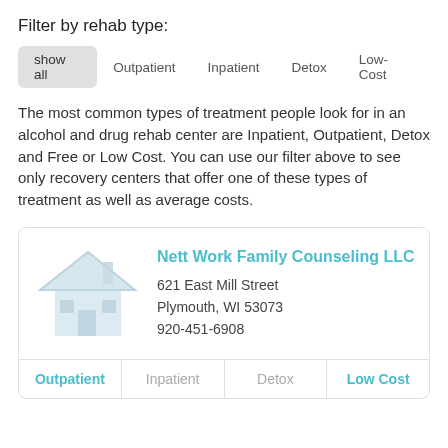Filter by rehab type:
show all | Outpatient | Inpatient | Detox | Low-Cost
The most common types of treatment people look for in an alcohol and drug rehab center are Inpatient, Outpatient, Detox and Free or Low Cost. You can use our filter above to see only recovery centers that offer one of these types of treatment as well as average costs.
Nett Work Family Counseling LLC
621 East Mill Street
Plymouth, WI 53073
920-451-6908
Outpatient | Inpatient | Detox | Low Cost